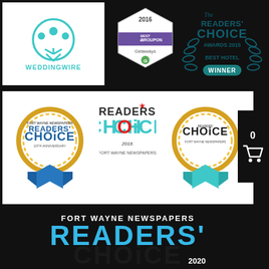[Figure (logo): WeddingWire logo with teal circle and three dots on stems]
[Figure (logo): 2016 Best of Groupon Getaways badge in purple/white hexagonal shape]
[Figure (logo): The Readers Choice Awards 2015 Best Hotel Winner badge with laurel wreath]
[Figure (logo): Fort Wayne Newspapers Readers Choice 10th Anniversary medallion badge with blue ribbon]
[Figure (logo): Readers Choice 2016 Fort Wayne Newspapers logo in teal and red]
[Figure (logo): Readers Choice Fort Wayne Newspapers medallion badge with teal ribbon]
[Figure (logo): Fort Wayne Newspapers Readers Choice 2020 large text logo in blue and black]